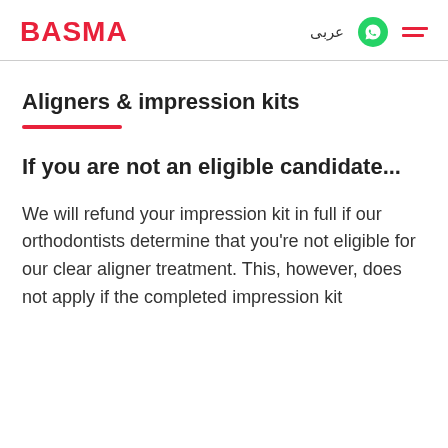BASMA | عربي
Aligners & impression kits
If you are not an eligible candidate...
We will refund your impression kit in full if our orthodontists determine that you're not eligible for our clear aligner treatment. This, however, does not apply if the completed impression kit